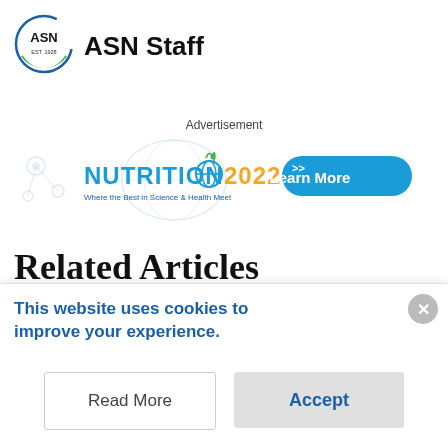[Figure (logo): ASN logo circular with 'ASN EST. 1928' text inside, with blue/green arc]
ASN Staff
Advertisement
[Figure (illustration): Nutrition 2022 conference banner ad with logo, subtitle 'Where the Best in Science & Health Meet', background globe/molecule graphics, and 'Learn More' button]
Related Articles
[Figure (logo): OptinMonster branding badge in gray]
This website uses cookies to improve your experience.
Read More
Accept